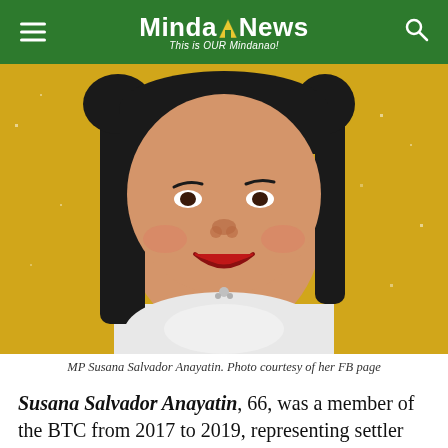MindaNews — This is OUR Mindanao!
[Figure (photo): Portrait photo of MP Susana Salvador Anayatin, a woman smiling, wearing a white outfit, with a gold/yellow glittery background.]
MP Susana Salvador Anayatin. Photo courtesy of her FB page
Susana Salvador Anayatin, 66, was a member of the BTC from 2017 to 2019, representing settler